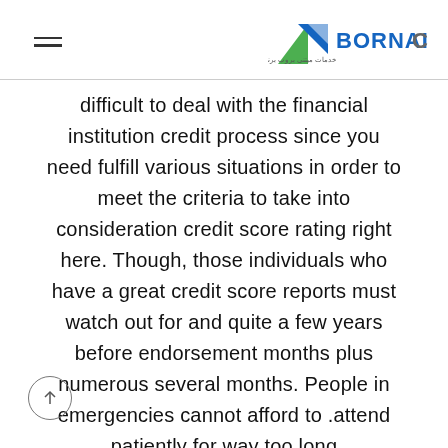BORNAITCO
difficult to deal with the financial institution credit process since you need fulfill various situations in order to meet the criteria to take into consideration credit score rating right here. Though, those individuals who have a great credit score reports must watch out for and quite a few years before endorsement months plus numerous several months. People in emergencies cannot afford to attend patiently for way too long